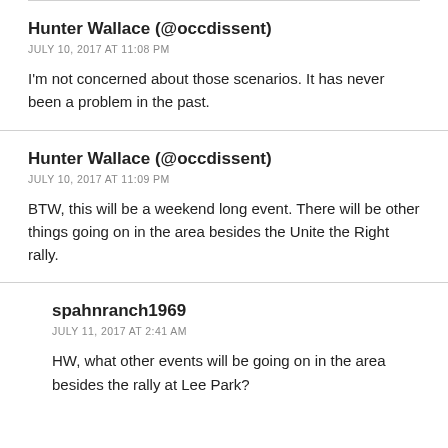Hunter Wallace (@occdissent)
JULY 10, 2017 AT 11:08 PM
I'm not concerned about those scenarios. It has never been a problem in the past.
Hunter Wallace (@occdissent)
JULY 10, 2017 AT 11:09 PM
BTW, this will be a weekend long event. There will be other things going on in the area besides the Unite the Right rally.
spahnranch1969
JULY 11, 2017 AT 2:41 AM
HW, what other events will be going on in the area besides the rally at Lee Park?